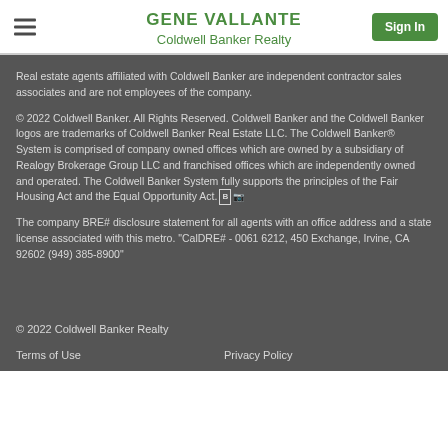GENE VALLANTE
Coldwell Banker Realty
Real estate agents affiliated with Coldwell Banker are independent contractor sales associates and are not employees of the company.
© 2022 Coldwell Banker. All Rights Reserved. Coldwell Banker and the Coldwell Banker logos are trademarks of Coldwell Banker Real Estate LLC. The Coldwell Banker® System is comprised of company owned offices which are owned by a subsidiary of Realogy Brokerage Group LLC and franchised offices which are independently owned and operated. The Coldwell Banker System fully supports the principles of the Fair Housing Act and the Equal Opportunity Act.
The company BRE# disclosure statement for all agents with an office address and a state license associated with this metro. "CalDRE# - 0061 6212, 450 Exchange, Irvine, CA 92602 (949) 385-8900"
© 2022 Coldwell Banker Realty
Terms of Use    Privacy Policy